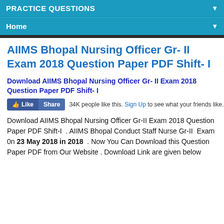PRACTICE QUESTIONS
Home
AIIMS Bhopal Nursing Officer Gr- II Exam 2018 Question Paper PDF Shift- I
Download AIIMS Bhopal Nursing Officer Gr- II Exam 2018 Question Paper PDF Shift- I
34K people like this. Sign Up to see what your friends like.
Download AIIMS Bhopal Nursing Officer Gr-II Exam 2018 Question Paper PDF Shift-I . AIIMS Bhopal Conduct Staff Nurse Gr-II Exam 0n 23 May 2018 in 2018 . Now You Can Download this Question Paper PDF from Our Website . Download Link are given below